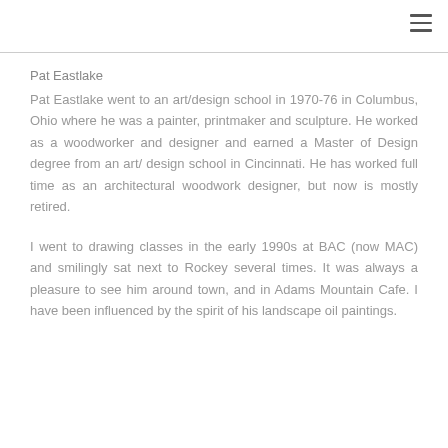Pat Eastlake
Pat Eastlake went to an art/design school in 1970-76 in Columbus, Ohio where he was a painter, printmaker and sculpture. He worked as a woodworker and designer and earned a Master of Design degree from an art/ design school in Cincinnati. He has worked full time as an architectural woodwork designer, but now is mostly retired.
I went to drawing classes in the early 1990s at BAC (now MAC) and smilingly sat next to Rockey several times. It was always a pleasure to see him around town, and in Adams Mountain Cafe. I have been influenced by the spirit of his landscape oil paintings.